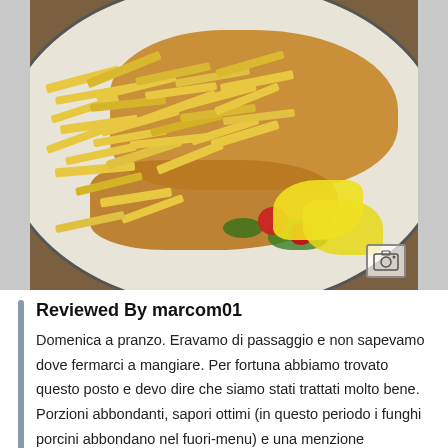[Figure (photo): Photo of a plate of breaded schnitzel/cutlet with french fries, garnished with lemon wedges, cherry tomatoes, and green salad leaves. A small image icon is visible in the bottom-right corner of the photo.]
Reviewed By marcom01
Domenica a pranzo. Eravamo di passaggio e non sapevamo dove fermarci a mangiare. Per fortuna abbiamo trovato questo posto e devo dire che siamo stati trattati molto bene. Porzioni abbondanti, sapori ottimi (in questo periodo i funghi porcini abbondano nel fuori-menu) e una menzione particolare alle birre